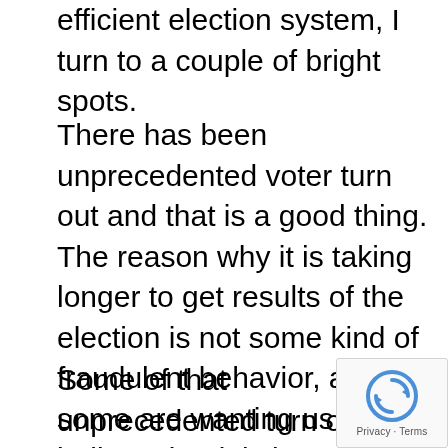efficient election system, I turn to a couple of bright spots.
There has been unprecedented voter turn out and that is a good thing.  The reason why it is taking longer to get results of the election is not some kind of fraudulent behavior, as some are wanting us to believe, but it is because we had record numbers of people cast ballots over this election cycle, culminating in the people, like me, who just had to go in person to the polls on Tuesday.   Our election system will be able to get everyone's ballot counted and a legitimate winner will be decided for all races, including that of the President.
Some of that unprecedented turn out in Michigan is because we've made it easier, not more difficult, for people to cast their vote.  Pandemic or not, presidential